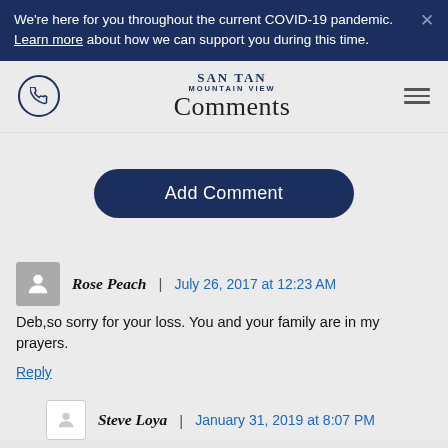We're here for you throughout the current COVID-19 pandemic. Learn more about how we can support you during this time.
SAN TAN MOUNTAIN VIEW Comments
Add Comment
Rose Peach | July 26, 2017 at 12:23 AM
Deb,so sorry for your loss. You and your family are in my prayers.
Reply
Steve Loya | January 31, 2019 at 8:07 PM